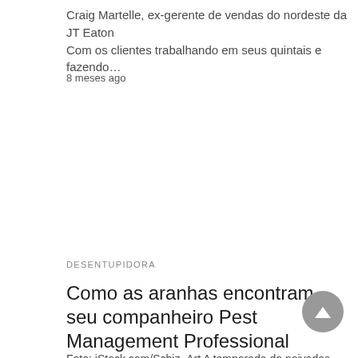Craig Martelle, ex-gerente de vendas do nordeste da JT Eaton Com os clientes trabalhando em seus quintais e fazendo…
8 meses ago
DESENTUPIDORA
Como as aranhas encontram seu companheiro Pest Management Professional
Foto: iStock.com/Schiz_Art A temporada do noivados está